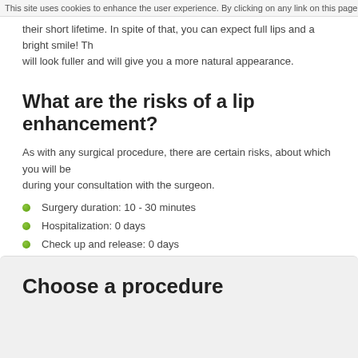This site uses cookies to enhance the user experience. By clicking on any link on this page you are gi...
their short lifetime. In spite of that, you can expect full lips and a bright smile! Th... will look fuller and will give you a more natural appearance.
What are the risks of a lip enhancement?
As with any surgical procedure, there are certain risks, about which you will be during your consultation with the surgeon.
Surgery duration: 10 - 30 minutes
Hospitalization: 0 days
Check up and release: 0 days
Note:
Choose a procedure